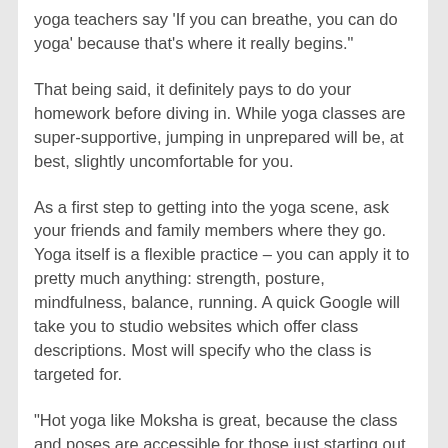yoga teachers say ‘If you can breathe, you can do yoga’ because that’s where it really begins.”
That being said, it definitely pays to do your homework before diving in. While yoga classes are super-supportive, jumping in unprepared will be, at best, slightly uncomfortable for you.
As a first step to getting into the yoga scene, ask your friends and family members where they go. Yoga itself is a flexible practice – you can apply it to pretty much anything: strength, posture, mindfulness, balance, running. A quick Google will take you to studio websites which offer class descriptions. Most will specify who the class is targeted for.
“Hot yoga like Moksha is great, because the class and poses are accessible for those just starting out, up to seasoned practitioners,” says Warren. “Feel free to call studios and ask the teachers/owners questions. There’s an excellent chance we’ve practiced lots of different